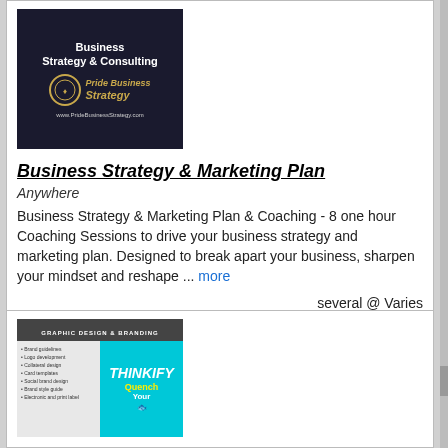[Figure (logo): Pride Business Strategy logo with dark background, company name 'Business Strategy & Consulting' in white bold text at top, circular logo emblem in center, and website URL www.PrideBusinessStrategy.com at bottom]
Business Strategy & Marketing Plan
Anywhere
Business Strategy & Marketing Plan & Coaching - 8 one hour Coaching Sessions to drive your business strategy and marketing plan. Designed to break apart your business, sharpen your mindset and reshape ... more
several @ Varies
[Figure (illustration): Graphic Design & Branding product image with dark header bar, left side gray background with bullet list items, right side cyan/turquoise background with stylized text]